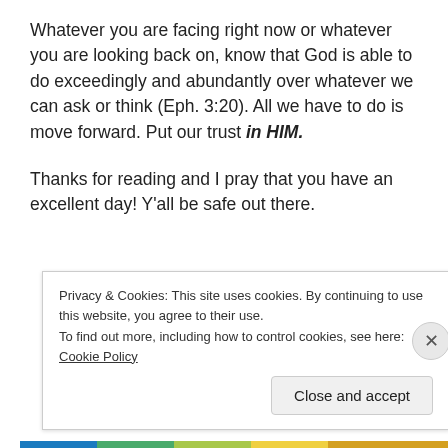Whatever you are facing right now or whatever you are looking back on, know that God is able to do exceedingly and abundantly over whatever we can ask or think (Eph. 3:20). All we have to do is move forward. Put our trust in HIM.
Thanks for reading and I pray that you have an excellent day! Y'all be safe out there.
Privacy & Cookies: This site uses cookies. By continuing to use this website, you agree to their use. To find out more, including how to control cookies, see here: Cookie Policy